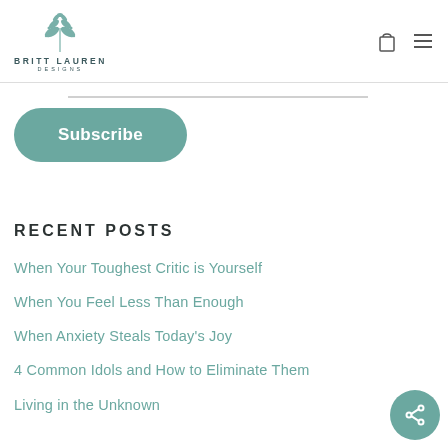BRITT LAUREN DESIGNS
[Figure (logo): Britt Lauren Designs logo with botanical illustration above the text]
Subscribe
RECENT POSTS
When Your Toughest Critic is Yourself
When You Feel Less Than Enough
When Anxiety Steals Today’s Joy
4 Common Idols and How to Eliminate Them
Living in the Unknown